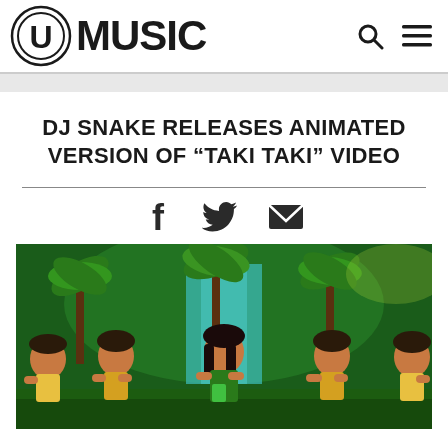U MUSIC
DJ SNAKE RELEASES ANIMATED VERSION OF “TAKI TAKI” VIDEO
[Figure (photo): Animated screenshot from DJ Snake's Taki Taki music video showing pixel-art style characters (a woman in center and four male figures) dancing in a jungle scene with palm trees and a waterfall in shades of green]